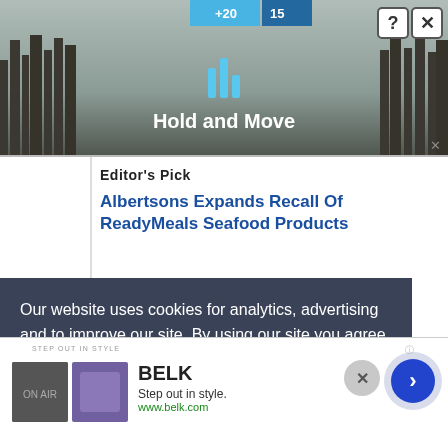[Figure (screenshot): Top advertisement banner showing 'Hold and Move' app ad with dark background, trees, and score UI elements. Close buttons visible top right.]
Editor's Pick
Albertsons Expands Recall Of ReadyMeals Seafood Products
Our website uses cookies for analytics, advertising and to improve our site. By using our site you agree to our use of cookies. To find out more, including how to change your settings, see our Cookie Policy  Learn More
[Figure (screenshot): Bottom advertisement for BELK — 'Step out in style' with two product thumbnail images, BELK brand name, and navigation arrow circle button.]